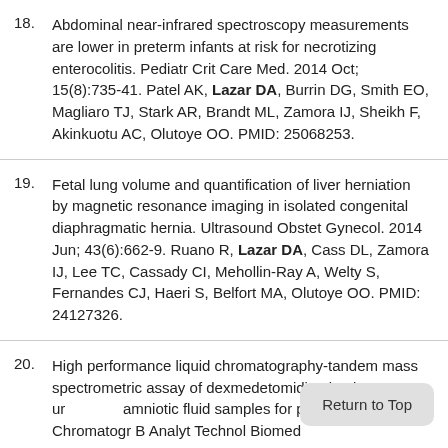18. Abdominal near-infrared spectroscopy measurements are lower in preterm infants at risk for necrotizing enterocolitis. Pediatr Crit Care Med. 2014 Oct; 15(8):735-41. Patel AK, Lazar DA, Burrin DG, Smith EO, Magliaro TJ, Stark AR, Brandt ML, Zamora IJ, Sheikh F, Akinkuotu AC, Olutoye OO. PMID: 25068253.
19. Fetal lung volume and quantification of liver herniation by magnetic resonance imaging in isolated congenital diaphragmatic hernia. Ultrasound Obstet Gynecol. 2014 Jun; 43(6):662-9. Ruano R, Lazar DA, Cass DL, Zamora IJ, Lee TC, Cassady CI, Mehollin-Ray A, Welty S, Fernandes CJ, Haeri S, Belfort MA, Olutoye OO. PMID: 24127326.
20. High performance liquid chromatography-tandem mass spectrometric assay of dexmedetomidine in plasma, urine, and amniotic fluid samples for pregnancy model. J Chromatogr B Analyt Technol Biomed